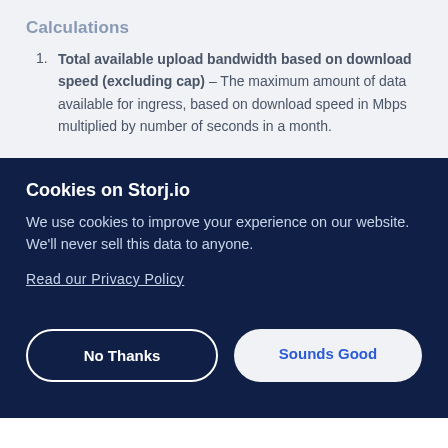Calculations
Total available upload bandwidth based on download speed (excluding cap) - The maximum amount of data available for ingress, based on download speed in Mbps multiplied by number of seconds in a month.
Cookies on Storj.io
We use cookies to improve your experience on our website. We'll never sell this data to anyone.
Read our Privacy Policy
No Thanks
Sounds Good